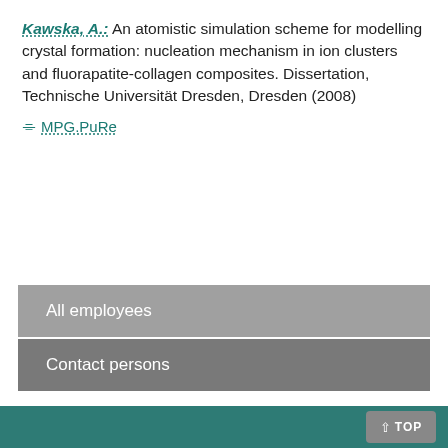Kawska, A.: An atomistic simulation scheme for modelling crystal formation: nucleation mechanism in ion clusters and fluorapatite-collagen composites. Dissertation, Technische Universität Dresden, Dresden (2008)
MPG.PuRe
All employees
Contact persons
TOP